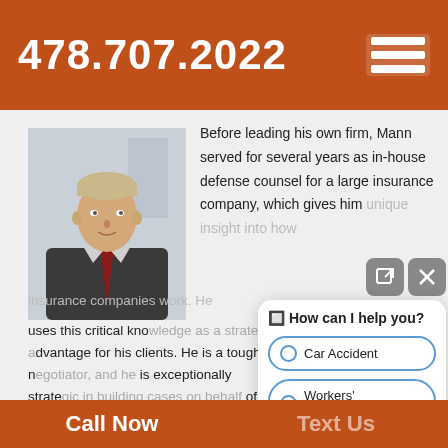478.707.2022
[Figure (photo): Professional headshot of attorney Mann in a dark suit and red tie, against a light background]
Before leading his own firm, Mann served for several years as in-house defense counsel for a large insurance company, which gives him unique insight into how insurance companies work. He uses this critical knowledge as a strategic advantage for his clients. He is a tough negotiator, and he is exceptionally strategic in building cases on behalf of personal injury victims.
[Figure (screenshot): Chatbot overlay showing 'How can I help you?' with options: Car Accident, Workers' Compensation, Nursing Home]
Call Now   Text Us